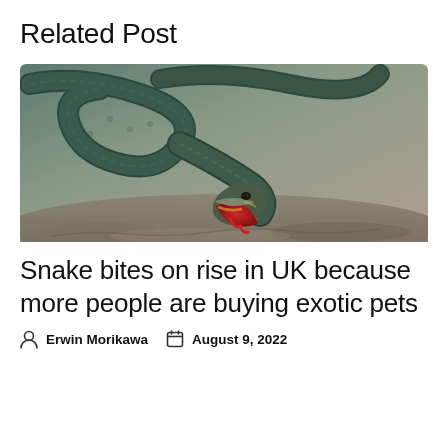Related Post
[Figure (photo): A snake with its mouth wide open, showing red interior, rearing up on rocky ground. The snake has dark grey-green scales.]
Snake bites on rise in UK because more people are buying exotic pets
Erwin Morikawa   August 9, 2022